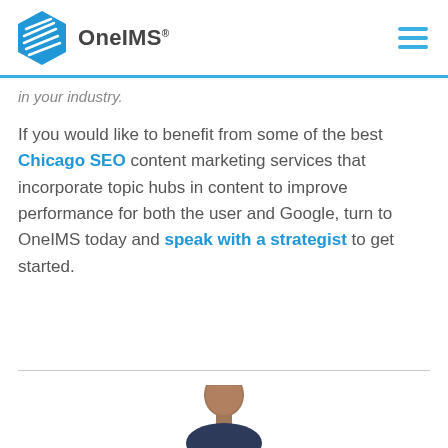OneIMS
in your industry.
If you would like to benefit from some of the best Chicago SEO content marketing services that incorporate topic hubs in content to improve performance for both the user and Google, turn to OneIMS today and speak with a strategist to get started.
[Figure (photo): Portrait photo of a man (partial, bottom of page)]